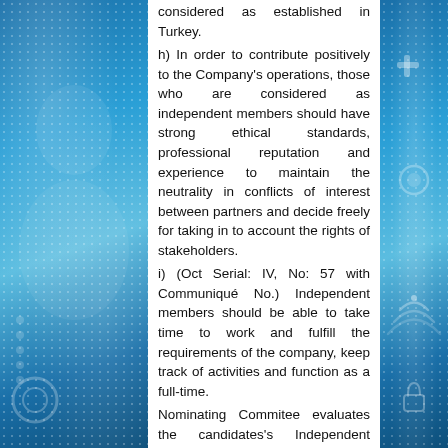considered as established in Turkey.
h) In order to contribute positively to the Company's operations, those who are considered as independent members should have strong ethical standards, professional reputation and experience to maintain the neutrality in conflicts of interest between partners and decide freely for taking in to account the rights of stakeholders.
i) (Oct Serial: IV, No: 57 with Communiqué No.) Independent members should be able to take time to work and fulfill the requirements of the company, keep track of activities and function as a full-time.
Nominating Commitee evaluates the candidates's Independent Member criteria by taking in to account issues and submits an assessment report for accession bids including shareholders, management and Independent candidates to Board of Members for approval.